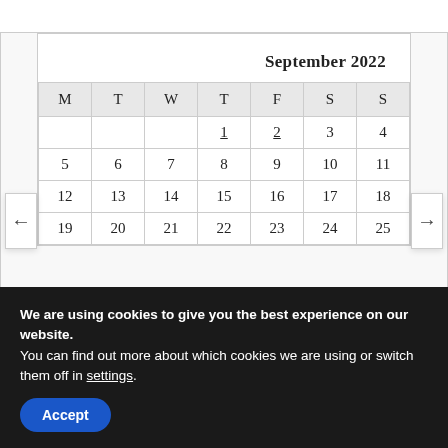| M | T | W | T | F | S | S |
| --- | --- | --- | --- | --- | --- | --- |
|  |  |  | 1 | 2 | 3 | 4 |
| 5 | 6 | 7 | 8 | 9 | 10 | 11 |
| 12 | 13 | 14 | 15 | 16 | 17 | 18 |
| 19 | 20 | 21 | 22 | 23 | 24 | 25 |
We are using cookies to give you the best experience on our website.
You can find out more about which cookies we are using or switch them off in settings.